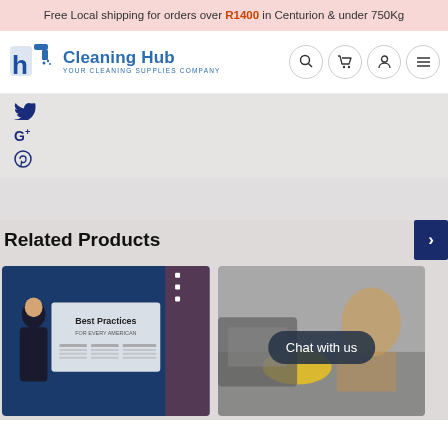Free Local shipping for orders over R1400 in Centurion & under 750Kg
[Figure (logo): Cleaning Hub logo — spray bottle icon with 'h' letter, text 'Cleaning Hub' and tagline 'YOUR CLEANING SUPPLIES COMPANY']
[Figure (infographic): Navigation icons: search, cart, account, menu (hamburger)]
[Figure (infographic): Social media icons sidebar: Twitter bird, Google+, Pinterest]
Related Products
[Figure (photo): Product image 1: A person in a suit standing in front of a 'Best Practices for every American' COVID-19 guidelines poster with CDC/White House branding]
[Figure (photo): Product image 2: A person cleaning a surface with a yellow cloth, with 'Chat with us' button overlay]